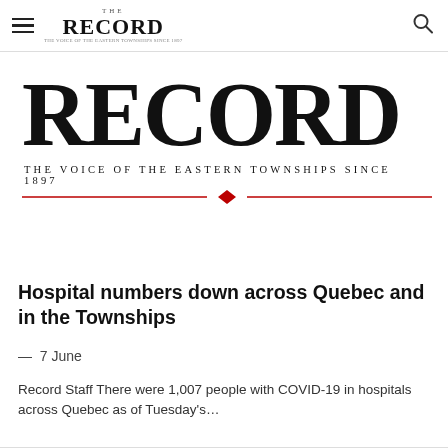THE RECORD — The voice of the Eastern Townships since 1897
[Figure (logo): The Record newspaper logo — large bold serif RECORD wordmark with tagline 'The Voice of the Eastern Townships Since 1897' and decorative red rule beneath]
Hospital numbers down across Quebec and in the Townships
— 7 June
Record Staff There were 1,007 people with COVID-19 in hospitals across Quebec as of Tuesday's...